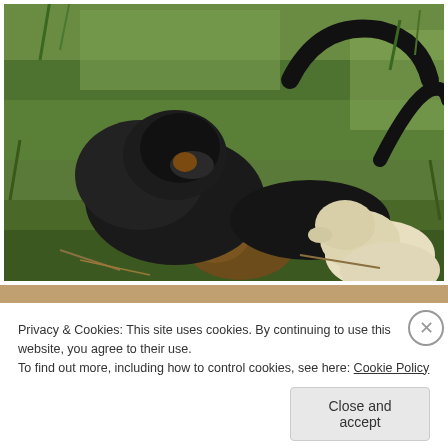[Figure (photo): Three dogs playing on grass — two large black dogs and one smaller white/cream dog interacting outdoors on green grass with sunlight.]
[Figure (photo): Partial view of a second photo below, showing a brownish/sandy background, partially obscured by the cookie banner.]
Privacy & Cookies: This site uses cookies. By continuing to use this website, you agree to their use.
To find out more, including how to control cookies, see here: Cookie Policy
Close and accept